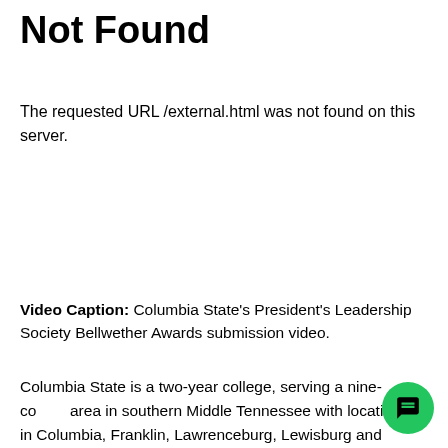Not Found
The requested URL /external.html was not found on this server.
Video Caption: Columbia State's President's Leadership Society Bellwether Awards submission video.
Columbia State is a two-year college, serving a nine-county area in southern Middle Tennessee with locations in Columbia, Franklin, Lawrenceburg, Lewisburg and Clifton. As